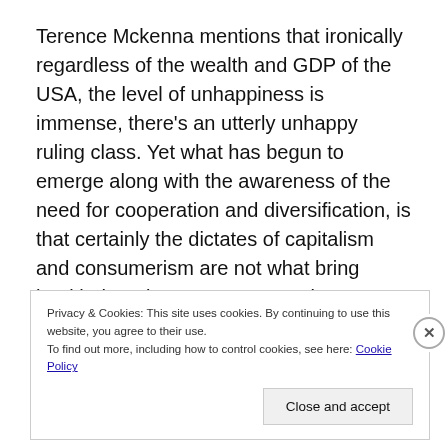Terence Mckenna mentions that ironically regardless of the wealth and GDP of the USA, the level of unhappiness is immense, there's an utterly unhappy ruling class. Yet what has begun to emerge along with the awareness of the need for cooperation and diversification, is that certainly the dictates of capitalism and consumerism are not what bring health, happiness or progress, but are
Privacy & Cookies: This site uses cookies. By continuing to use this website, you agree to their use.
To find out more, including how to control cookies, see here: Cookie Policy
Close and accept